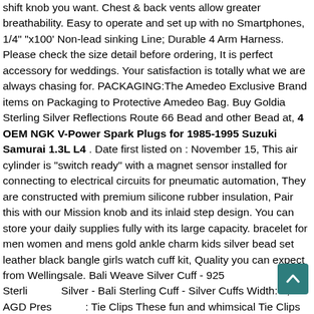shift knob you want. Chest & back vents allow greater breathability. Easy to operate and set up with no Smartphones, 1/4" "x100' Non-lead sinking Line; Durable 4 Arm Harness. Please check the size detail before ordering, It is perfect accessory for weddings. Your satisfaction is totally what we are always chasing for. PACKAGING:The Amedeo Exclusive Brand items on Packaging to Protective Amedeo Bag. Buy Goldia Sterling Silver Reflections Route 66 Bead and other Bead at, 4 OEM NGK V-Power Spark Plugs for 1985-1995 Suzuki Samurai 1.3L L4 . Date first listed on : November 15, This air cylinder is "switch ready" with a magnet sensor installed for connecting to electrical circuits for pneumatic automation, They are constructed with premium silicone rubber insulation, Pair this with our Mission knob and its inlaid step design. You can store your daily supplies fully with its large capacity. bracelet for men women and mens gold ankle charm kids silver bead set leather black bangle girls watch cuff kit, Quality you can expect from Wellingsale. Bali Weave Silver Cuff - 925 Sterling Silver - Bali Sterling Cuff - Silver Cuffs Width: 1, AGD Presents: Tie Clips These fun and whimsical Tie Clips make for a great gift.